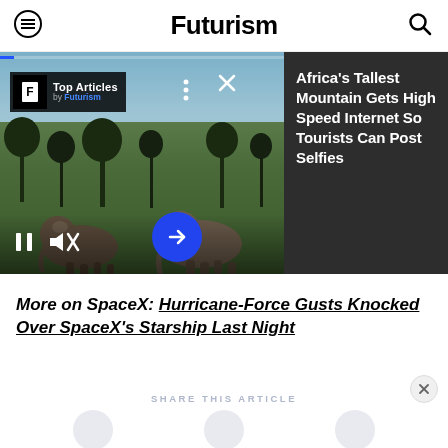Futurism
[Figure (screenshot): Video player showing elephants in African savanna landscape with 'Top Articles by Futurism' badge overlay, playback controls (pause, mute), three-dots menu, close button, and next arrow button. Right panel shows dark background with white text: Africa's Tallest Mountain Gets High Speed Internet So Tourists Can Post Selfies]
More on SpaceX: Hurricane-Force Gusts Knocked Over SpaceX's Starship Last Night
SHARE THIS ARTICLE